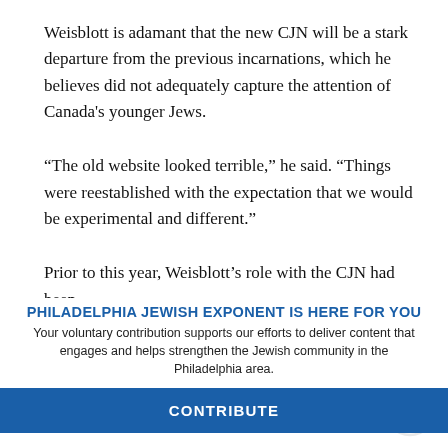Weisblott is adamant that the new CJN will be a stark departure from the previous incarnations, which he believes did not adequately capture the attention of Canada's younger Jews.
“The old website looked terrible,” he said. “Things were reestablished with the expectation that we would be experimental and different.”
Prior to this year, Weisblott’s role with the CJN had been limited to a freelance contributor.
PHILADELPHIA JEWISH EXPONENT IS HERE FOR YOU
Your voluntary contribution supports our efforts to deliver content that engages and helps strengthen the Jewish community in the Philadelphia area.
CONTRIBUTE
The CJN’s new funding model consists of online advertising, donors remaining anonymous. As before, the publication remains independent of any federation or other Jewish institution.